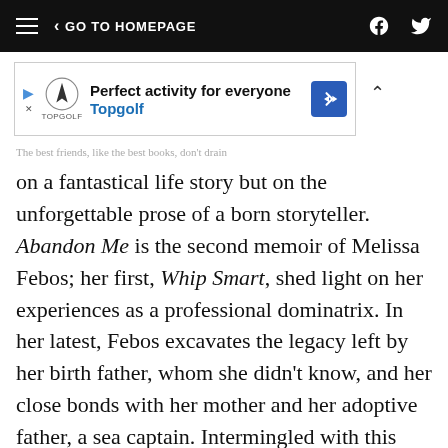GO TO HOMEPAGE
[Figure (other): Advertisement banner for Topgolf: 'Perfect activity for everyone' with Topgolf logo and navigation arrow]
...the best friends, like the best books, don't drain on a fantastical life story but on the unforgettable prose of a born storyteller. Abandon Me is the second memoir of Melissa Febos; her first, Whip Smart, shed light on her experiences as a professional dominatrix. In her latest, Febos excavates the legacy left by her birth father, whom she didn't know, and her close bonds with her mother and her adoptive father, a sea captain. Intermingled with this reexamination of her childhood and ancestry is a love story — the aching, erotic saga of her affair with a married woman. Searing and eye-opening at every turn,